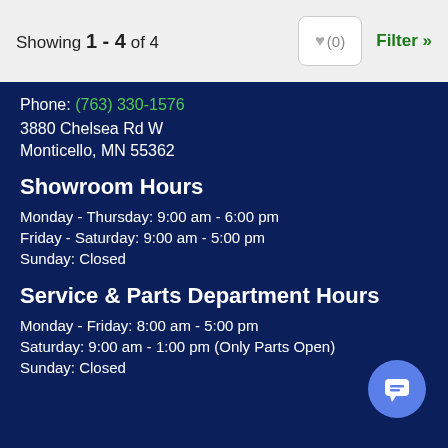Showing 1 - 4 of 4
Phone: (763) 330-1576
3880 Chelsea Rd W
Monticello, MN 55362
Showroom Hours
Monday - Thursday: 9:00 am - 6:00 pm
Friday - Saturday: 9:00 am - 5:00 pm
Sunday: Closed
Service & Parts Department Hours
Monday - Friday: 8:00 am - 5:00 pm
Saturday: 9:00 am - 1:00 pm (Only Parts Open)
Sunday: Closed
STAY CONNECTED